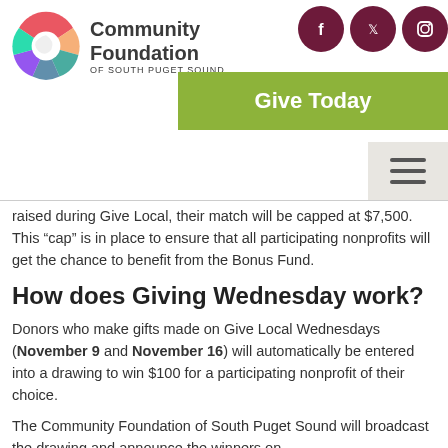[Figure (logo): Community Foundation of South Puget Sound logo with rainbow swirl and organization name]
[Figure (infographic): Social media icons (Facebook, Twitter, Instagram) in dark maroon circles, Give Today green button, and hamburger menu icon]
raised during Give Local, their match will be capped at $7,500. This “cap” is in place to ensure that all participating nonprofits will get the chance to benefit from the Bonus Fund.
How does Giving Wednesday work?
Donors who make gifts made on Give Local Wednesdays (November 9 and November 16) will automatically be entered into a drawing to win $100 for a participating nonprofit of their choice.
The Community Foundation of South Puget Sound will broadcast the drawing and announce the winners on